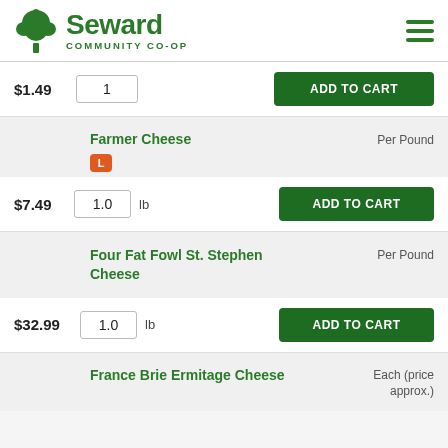Seward Community Co-op
$1.49  1  ADD TO CART
Farmer Cheese
Per Pound
$7.49  1.0 lb  ADD TO CART
Four Fat Fowl St. Stephen Cheese
Per Pound
$32.99  1.0 lb  ADD TO CART
France Brie Ermitage Cheese
Each (price approx.)